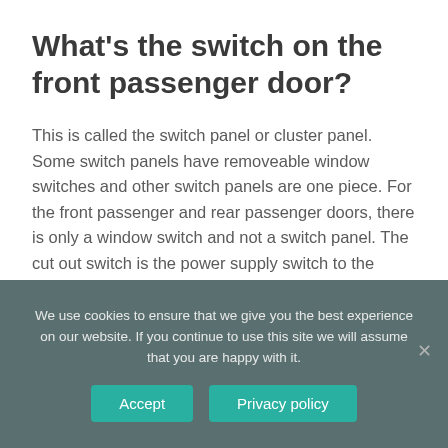What’s the switch on the front passenger door?
This is called the switch panel or cluster panel. Some switch panels have removeable window switches and other switch panels are one piece. For the front passenger and rear passenger doors, there is only a window switch and not a switch panel. The cut out switch is the power supply switch to the passenger doors.
We use cookies to ensure that we give you the best experience on our website. If you continue to use this site we will assume that you are happy with it.
Accept
Privacy policy